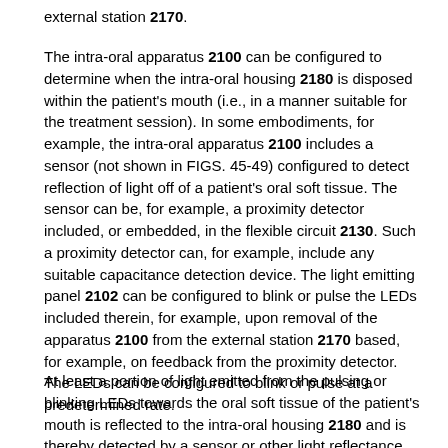external station 2170.
The intra-oral apparatus 2100 can be configured to determine when the intra-oral housing 2180 is disposed within the patient's mouth (i.e., in a manner suitable for the treatment session). In some embodiments, for example, the intra-oral apparatus 2100 includes a sensor (not shown in FIGS. 45-49) configured to detect reflection of light off of a patient's oral soft tissue. The sensor can be, for example, a proximity detector included, or embedded, in the flexible circuit 2130. Such a proximity detector can, for example, include any suitable capacitance detection device. The light emitting panel 2102 can be configured to blink or pulse the LEDs included therein, for example, upon removal of the apparatus 2100 from the external station 2170 based, for example, on feedback from the proximity detector. The LEDs can be configured to blink or pulse at a predetermined rate.
At least a portion of light emitted from the pulsing or blinking LEDs towards the oral soft tissue of the patient's mouth is reflected to the intra-oral housing 2180 and is thereby detected by a sensor or other light reflectance